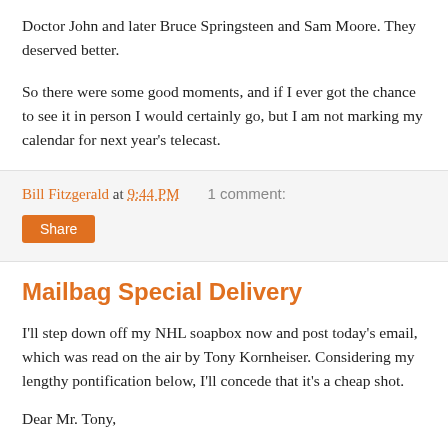Doctor John and later Bruce Springsteen and Sam Moore. They deserved better.
So there were some good moments, and if I ever got the chance to see it in person I would certainly go, but I am not marking my calendar for next year's telecast.
Bill Fitzgerald at 9:44 PM    1 comment:
Share
Mailbag Special Delivery
I'll step down off my NHL soapbox now and post today's email, which was read on the air by Tony Kornheiser. Considering my lengthy pontification below, I'll concede that it's a cheap shot.
Dear Mr. Tony,
Do you have a phone number for Rick Tocchet? I need to get a bet